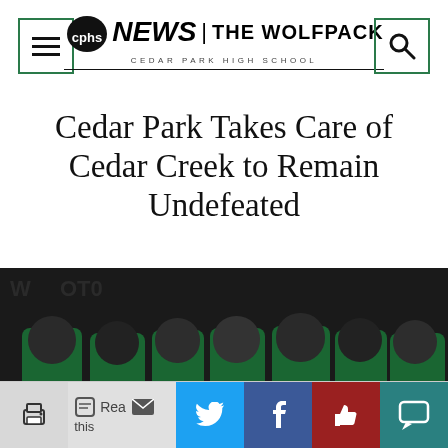cphs NEWS | THE WOLFPACK — Cedar Park High School
Cedar Park Takes Care of Cedar Creek to Remain Undefeated
[Figure (photo): Cedar Park High School football team in green uniforms and dark helmets gathered together, players numbered 31, 3, 86 visible, in a dark indoor setting.]
Social share bar: Print, Read this, Twitter, Facebook, Like, Comment